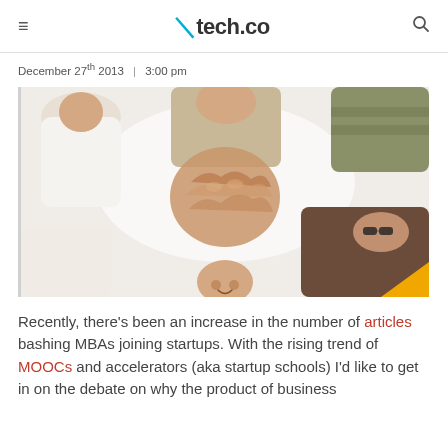≡  tech.co  🔍
December 27th 2013  |  3:00 pm
[Figure (photo): Group of people seen from below, reaching their hands to the center in a team huddle gesture, smiling, photographed from underneath looking up.]
Recently, there's been an increase in the number of articles bashing MBAs joining startups. With the rising trend of MOOCs and accelerators (aka startup schools) I'd like to get in on the debate on why the product of business